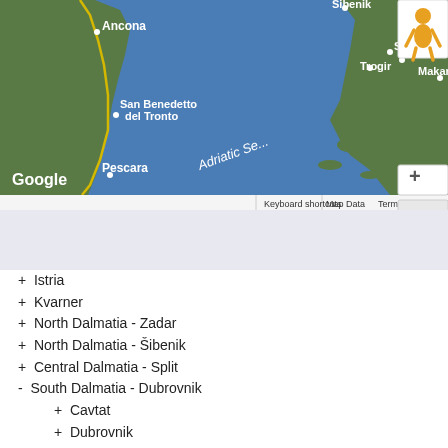[Figure (map): Google Maps satellite view showing the Adriatic Sea between the Italian coast (Ancona, San Benedetto del Tronto, Pescara) and the Croatian coast (Šibenik, Trogir, Split, Makarska). Includes zoom controls (+/-) and a pegman icon. Bottom bar shows Keyboard shortcuts, Map Data, Terms of Use.]
+ Istria
+ Kvarner
+ North Dalmatia - Zadar
+ North Dalmatia - Šibenik
+ Central Dalmatia - Split
- South Dalmatia - Dubrovnik
+ Cavtat
+ Dubrovnik
+ Klek
+ Mali Ston
+ Ston
+ Ploče
+ Slano
+ Trsteno
+ Orašac